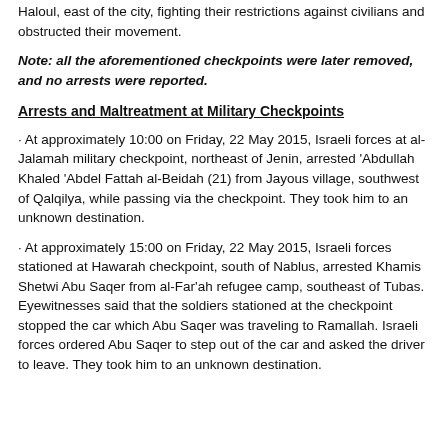Haloul, east of the city, fighting their restrictions against civilians and obstructed their movement.
Note: all the aforementioned checkpoints were later removed, and no arrests were reported.
Arrests and Maltreatment at Military Checkpoints
· At approximately 10:00 on Friday, 22 May 2015, Israeli forces at al-Jalamah military checkpoint, northeast of Jenin, arrested 'Abdullah Khaled 'Abdel Fattah al-Beidah (21) from Jayous village, southwest of Qalqilya, while passing via the checkpoint. They took him to an unknown destination.
· At approximately 15:00 on Friday, 22 May 2015, Israeli forces stationed at Hawarah checkpoint, south of Nablus, arrested Khamis Shetwi Abu Saqer from al-Far'ah refugee camp, southeast of Tubas. Eyewitnesses said that the soldiers stationed at the checkpoint stopped the car which Abu Saqer was traveling to Ramallah. Israeli forces ordered Abu Saqer to step out of the car and asked the driver to leave. They took him to an unknown destination.